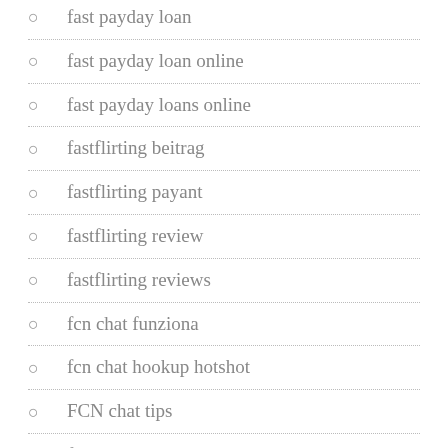fast payday loan
fast payday loan online
fast payday loans online
fastflirting beitrag
fastflirting payant
fastflirting review
fastflirting reviews
fcn chat funziona
fcn chat hookup hotshot
FCN chat tips
fdating app
fdating reddit